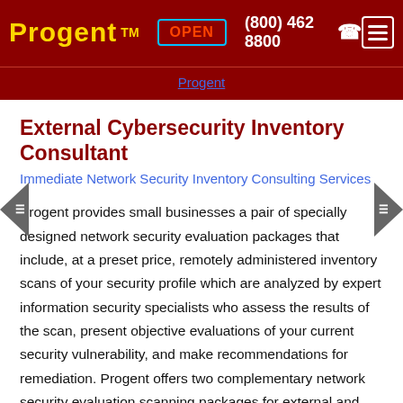Progent™  OPEN  (800) 462 8800  ☎
Progent
External Cybersecurity Inventory Consultant
Immediate Network Security Inventory Consulting Services
Progent provides small businesses a pair of specially designed network security evaluation packages that include, at a preset price, remotely administered inventory scans of your security profile which are analyzed by expert information security specialists who assess the results of the scan, present objective evaluations of your current security vulnerability, and make recommendations for remediation. Progent offers two complementary network security evaluation scanning packages for external and internal scanning that are priced to fit the budgets of small businesses while delivering enterprise-class evaluations of your network's